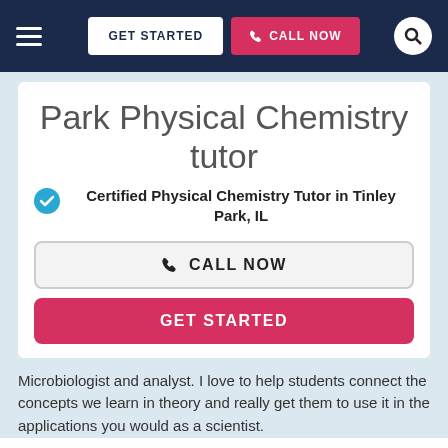GET STARTED  CALL NOW
Park Physical Chemistry tutor
Certified Physical Chemistry Tutor in Tinley Park, IL
CALL NOW
GET STARTED
Microbiologist and analyst. I love to help students connect the concepts we learn in theory and really get them to use it in the applications you would as a scientist.